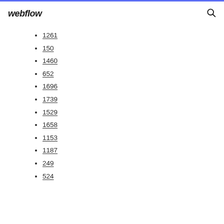webflow
1261
150
1460
652
1696
1739
1529
1658
1153
1187
249
524